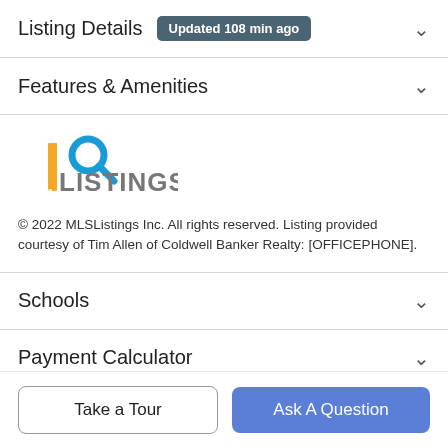Listing Details  Updated 108 min ago
Features & Amenities
[Figure (logo): MLSListings Inc. logo with magnifying glass icon and orange MLS text]
© 2022 MLSListings Inc. All rights reserved. Listing provided courtesy of Tim Allen of Coldwell Banker Realty: [OFFICEPHONE].
Schools
Payment Calculator
Take a Tour
Ask A Question